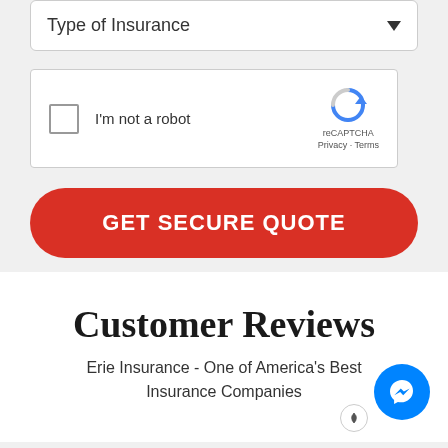[Figure (screenshot): Dropdown selector field labeled 'Type of Insurance' with a down-arrow on the right, on a light gray background]
[Figure (screenshot): reCAPTCHA widget with checkbox labeled 'I'm not a robot' and reCAPTCHA logo with Privacy and Terms links]
GET SECURE QUOTE
Customer Reviews
Erie Insurance - One of America's Best Insurance Companies